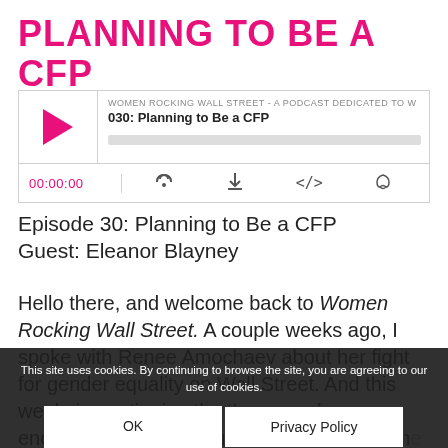PLANNING TO BE A CFP
[Figure (other): Podcast player widget for 'Women Rocking Wall Street' episode 030: Planning to Be a CFP. Shows a pink play button, episode title, progress bar, time counter 00:00:00, and media control icons.]
Episode 30: Planning to Be a CFP
Guest: Eleanor Blayney
Hello there, and welcome back to Women Rocking Wall Street. A couple weeks ago, I spoke with Renee Amochaev about her fight for gender equality on Wall Street. And this week, in continuing the theme and encouraging women out there to research the rewards a career in financial planning can bring. Well, who
This site uses cookies. By continuing to browse the site, you are agreeing to our use of cookies.
OK
Privacy Policy